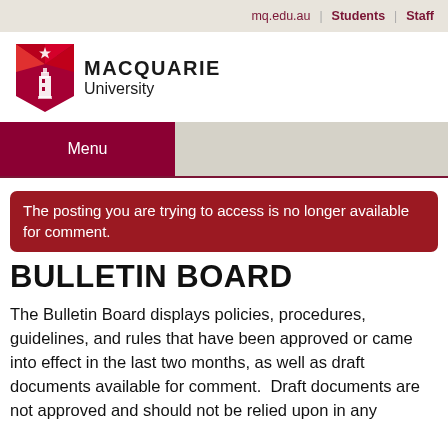mq.edu.au | Students | Staff
[Figure (logo): Macquarie University logo: red geometric shield with lighthouse and star, beside bold text MACQUARIE University]
Menu
The posting you are trying to access is no longer available for comment.
BULLETIN BOARD
The Bulletin Board displays policies, procedures, guidelines, and rules that have been approved or came into effect in the last two months, as well as draft documents available for comment.  Draft documents are not approved and should not be relied upon in any